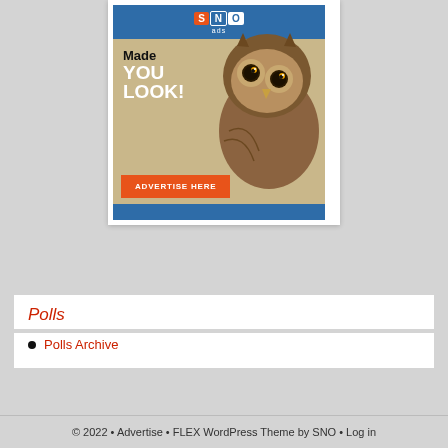[Figure (illustration): SNO Ads advertisement banner featuring an owl with text 'Made YOU LOOK!' and an 'ADVERTISE HERE' button on orange background, with blue header and footer bars.]
Polls
Polls Archive
© 2022 • Advertise • FLEX WordPress Theme by SNO • Log in